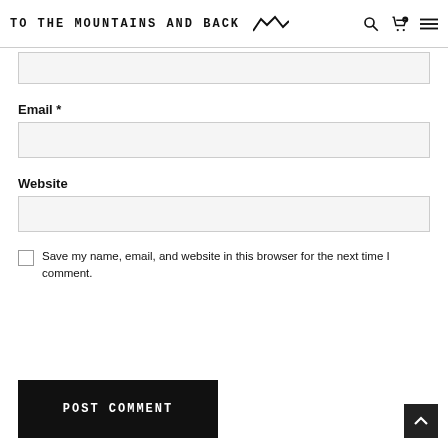TO THE MOUNTAINS AND BACK
Email *
Website
Save my name, email, and website in this browser for the next time I comment.
POST COMMENT